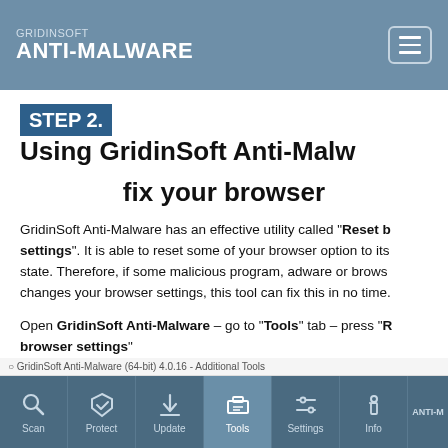GRIDINSOFT ANTI-MALWARE
STEP 2. Using GridinSoft Anti-Malware to fix your browser
GridinSoft Anti-Malware has an effective utility called "Reset browser settings". It is able to reset some of your browser option to its state. Therefore, if some malicious program, adware or browser changes your browser settings, this tool can fix this in no time.
Open GridinSoft Anti-Malware – go to "Tools" tab – press "Reset browser settings"
[Figure (screenshot): Screenshot of GridinSoft Anti-Malware (64-bit) 4.0.16 - Additional Tools window showing navigation bar with Scan, Protect, Update, Tools (active), Settings, Info, and ANTI-M tabs]